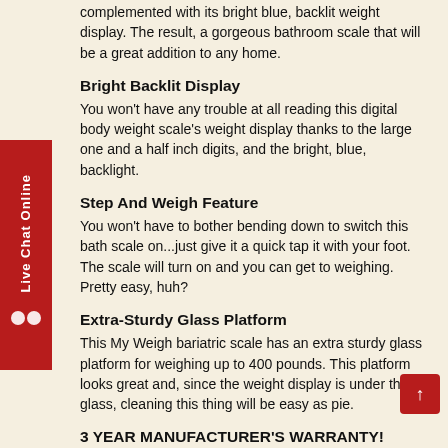complemented with its bright blue, backlit weight display. The result, a gorgeous bathroom scale that will be a great addition to any home.
Bright Backlit Display
You won't have any trouble at all reading this digital body weight scale's weight display thanks to the large one and a half inch digits, and the bright, blue, backlight.
Step And Weigh Feature
You won't have to bother bending down to switch this bath scale on...just give it a quick tap it with your foot. The scale will turn on and you can get to weighing. Pretty easy, huh?
Extra-Sturdy Glass Platform
This My Weigh bariatric scale has an extra sturdy glass platform for weighing up to 400 pounds. This platform looks great and, since the weight display is under the glass, cleaning this thing will be easy as pie.
3 YEAR MANUFACTURER'S WARRANTY!
If you have a problem with this scale, just send it to MyWeigh's warranty center in Phoenix, Arizona. They'll fix